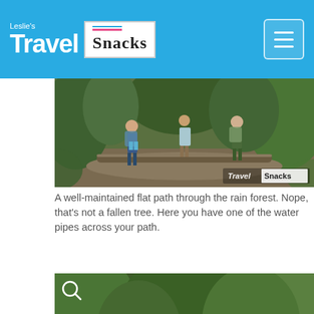Leslie's Travel Snacks
[Figure (photo): Group of hikers walking on a trail through a rainforest with a water pipe crossing the path. Watermark reading 'Travel Snacks' in bottom right.]
A well-maintained flat path through the rain forest. Nope, that's not a fallen tree. Here you have one of the water pipes across your path.
[Figure (photo): A shirtless man with a backpack and hat bending over, and another man in a blue shirt standing, in a lush green rainforest setting near rocks and a stream.]